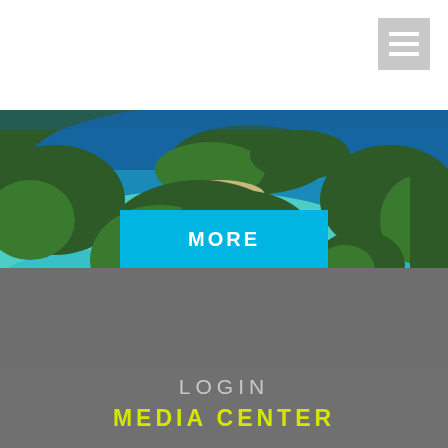[Figure (other): Hamburger menu icon button, light gray square with three white horizontal lines]
[Figure (photo): Aerial photograph of tropical island archipelago with turquoise waters, green forested islands, and sandy beaches]
MORE
LOGIN
MEDIA CENTER